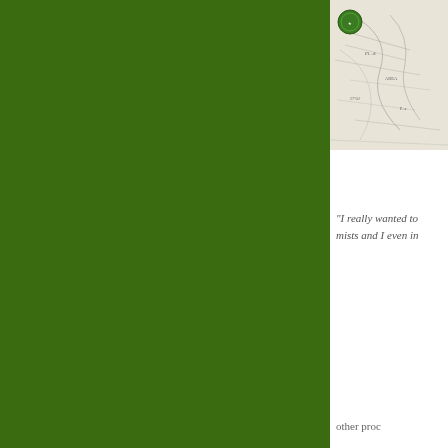[Figure (photo): Partial view of a vintage or antique map, cropped at the top-right of the page, showing geographic features and place names. A small green circular emblem or badge is visible in the upper left of the map image.]
"I really wanted to mists and I even in
other proc